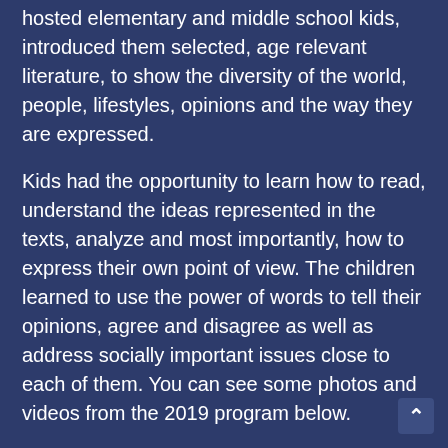hosted elementary and middle school kids, introduced them selected, age relevant literature, to show the diversity of the world, people, lifestyles, opinions and the way they are expressed.
Kids had the opportunity to learn how to read, understand the ideas represented in the texts, analyze and most importantly, how to express their own point of view. The children learned to use the power of words to tell their opinions, agree and disagree as well as address socially important issues close to each of them. You can see some photos and videos from the 2019 program below.
2019 summer camp (photos)